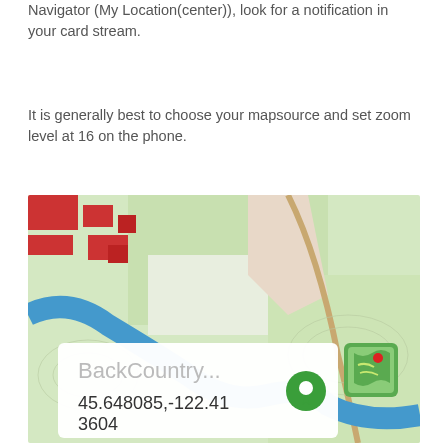Navigator (My Location(center)), look for a notification in your card stream.
It is generally best to choose your mapsource and set zoom level at 16 on the phone.
[Figure (screenshot): Screenshot of a map application showing a topographic map with a river (blue), forested areas (green), and red building footprints. An Android notification card overlay shows 'BackCountry...' with coordinates 45.648085,-122.413604 and a green location pin icon, plus a map app icon in the upper right.]